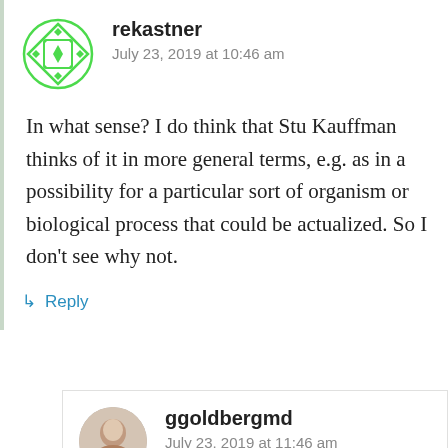[Figure (illustration): Green geometric/diamond avatar icon for user rekastner]
rekastner
July 23, 2019 at 10:46 am
In what sense? I do think that Stu Kauffman thinks of it in more general terms, e.g. as in a possibility for a particular sort of organism or biological process that could be actualized. So I don't see why not.
↳ Reply
[Figure (photo): Circular photo avatar of user ggoldbergmd, showing a person]
ggoldbergmd
July 23, 2019 at 11:46 am